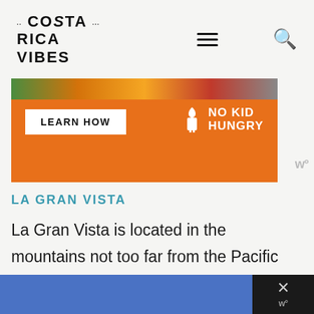Costa Rica Vibes
[Figure (infographic): Advertisement banner with orange background. Left side shows 'LEARN HOW' button in white box. Right side shows 'NO KID HUNGRY' logo in white text with icon.]
LA GRAN VISTA
La Gran Vista is located in the mountains not too far from the Pacific coast near Dominical. At this organic farm, volunteers are expected to participate daily work on the farm in exchange for a comfortable stay, Spanish classes and more.
[Figure (infographic): Bottom advertisement bar with blue background on left and dark panel with X close button on right.]